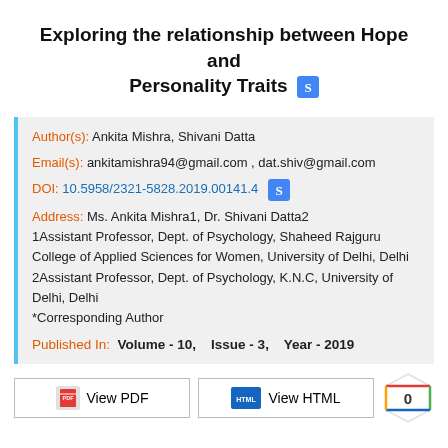Exploring the relationship between Hope and Personality Traits
Author(s): Ankita Mishra, Shivani Datta
Email(s): ankitamishra94@gmail.com , dat.shiv@gmail.com
DOI: 10.5958/2321-5828.2019.00141.4
Address: Ms. Ankita Mishra1, Dr. Shivani Datta2
1Assistant Professor, Dept. of Psychology, Shaheed Rajguru College of Applied Sciences for Women, University of Delhi, Delhi
2Assistant Professor, Dept. of Psychology, K.N.C, University of Delhi, Delhi
*Corresponding Author
Published In: Volume - 10,   Issue - 3,   Year - 2019
[Figure (other): View PDF button, View HTML button, and score circle with 0]